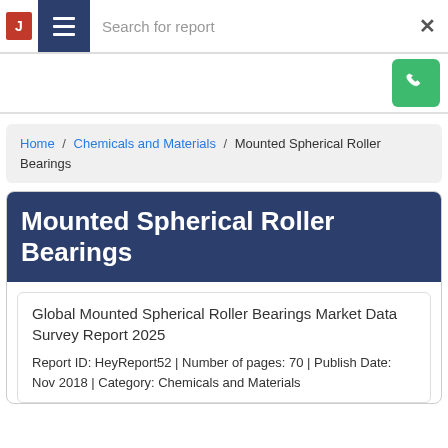Search for report
Home / Chemicals and Materials / Mounted Spherical Roller Bearings
Mounted Spherical Roller Bearings
Global Mounted Spherical Roller Bearings Market Data Survey Report 2025
Report ID: HeyReport52 | Number of pages: 70 | Publish Date: Nov 2018 | Category: Chemicals and Materials